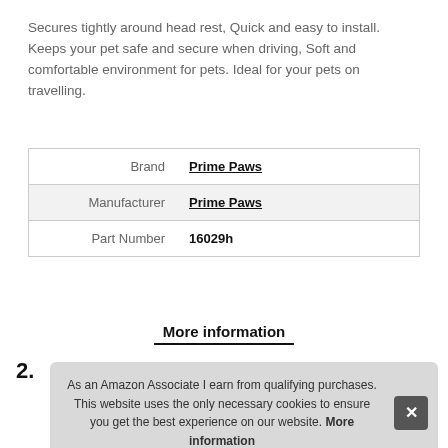Secures tightly around head rest, Quick and easy to install. Keeps your pet safe and secure when driving, Soft and comfortable environment for pets. Ideal for your pets on travelling.
| Brand | Prime Paws |
| Manufacturer | Prime Paws |
| Part Number | 16029h |
More information
As an Amazon Associate I earn from qualifying purchases. This website uses the only necessary cookies to ensure you get the best experience on our website. More information